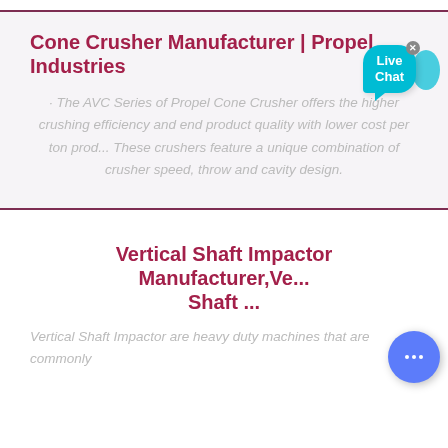Cone Crusher Manufacturer | Propel Industries
· The AVC Series of Propel Cone Crusher offers the higher crushing efficiency and end product quality with lower cost per ton prod... These crushers feature a unique combination of crusher speed, throw and cavity design.
Vertical Shaft Impactor Manufacturer, Ve... Shaft ...
Vertical Shaft Impactor are heavy duty machines that are commonly